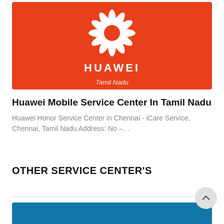[Figure (logo): Huawei logo on orange/red background with white flower petal logo, 'HUAWEI' text, and 'Tamil Nadu' subtitle]
Huawei Mobile Service Center In Tamil Nadu
Huawei Honor Service Center in Chennai - iCare Service, Chennai, Tamil Nadu Address: No –…
OTHER SERVICE CENTER'S
[Figure (photo): Blue banner/card partially visible at bottom of page]